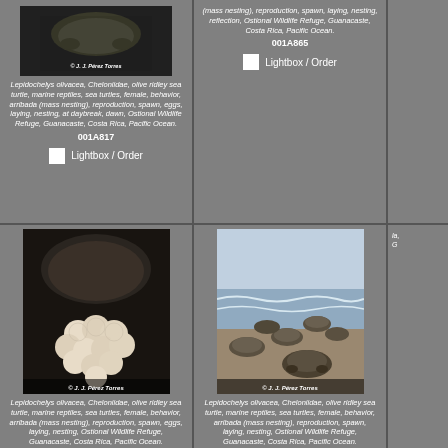[Figure (photo): Close-up photo of sea turtle at daybreak with copyright watermark © J. J. Pérez Torres]
Lepidochelys olivacea, Cheloniidae, olive ridley sea turtle, marine reptiles, sea turtles, female, behavior, arribada (mass nesting), reproduction, spawn, eggs, laying, nesting, at daybreak, dawn, Ostional Wildlife Refuge, Guanacaste, Costa Rica, Pacific Ocean.
001A817
Lightbox / Order
(mass nesting), reproduction, spawn, laying, nesting, reflection, Ostional Wildlife Refuge, Guanacaste, Costa Rica, Pacific Ocean.
001A865
Lightbox / Order
[Figure (photo): Photo of sea turtle eggs in nest with copyright watermark © J. J. Pérez Torres]
Lepidochelys olivacea, Cheloniidae, olive ridley sea turtle, marine reptiles, sea turtles, female, behavior, arribada (mass nesting), reproduction, spawn, eggs, laying, nesting, Ostional Wildlife Refuge, Guanacaste, Costa Rica, Pacific Ocean.
[Figure (photo): Photo of multiple sea turtles on beach shore with copyright watermark © J. J. Pérez Torres]
Lepidochelys olivacea, Cheloniidae, olive ridley sea turtle, marine reptiles, sea turtles, female, behavior, arribada (mass nesting), reproduction, spawn, laying, nesting, Ostional Wildlife Refuge, Guanacaste, Costa Rica, Pacific Ocean.
001A875B
la, G